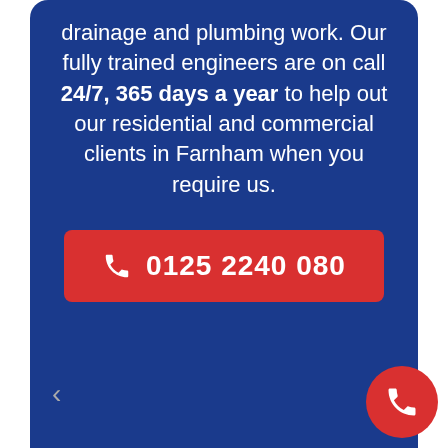drainage and plumbing work. Our fully trained engineers are on call 24/7, 365 days a year to help out our residential and commercial clients in Farnham when you require us.
0125 2240 080
[Figure (other): Red circular floating phone call button in the bottom-right corner]